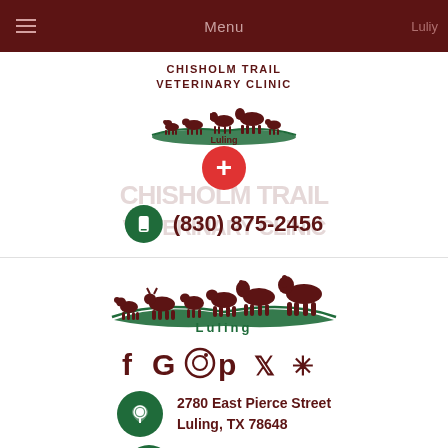Menu
[Figure (logo): Chisholm Trail Veterinary Clinic logo with animals silhouette and 'Luling' text]
CHISHOLM TRAIL VETERINARY CLINIC
(830) 875-2456
[Figure (logo): Large Chisholm Trail Veterinary Clinic logo with animals silhouette and 'Luling' text]
[Figure (infographic): Social media icons: Facebook, Google, Instagram, Pinterest, Twitter, Yelp]
2780 East Pierce Street Luling, TX 78648
(830) 875-2456